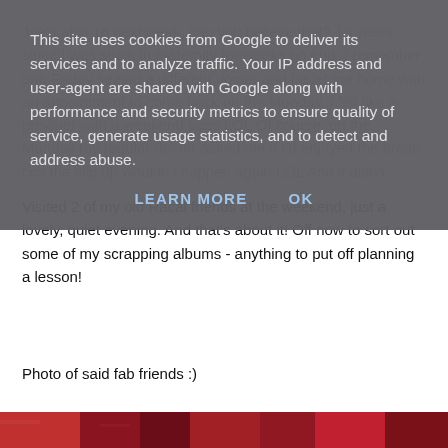Joe's also 18 next week, can you believe that? 18 years since I was stuck in maternity for weeks on end. I remember one Friday seeing a different doctor and he let me home with an appointment to come back on the Monday. I felt like a prisoner with a weekend pass LOL Of course, on the Monday my regular doctor asked me if I'd enjoyed the break cos the slip up wouldn't happen again LOL And it didn't.
Visited 2 of my old Racal friends at the weekend, just a lovely, quiet evening. And that's about it! Off now to sort out some of my scrapping albums - anything to put off planning a lesson!
Photo of said fab friends :)
[Figure (photo): Bottom strip showing the edge of a photograph with dark red/maroon tones]
This site uses cookies from Google to deliver its services and to analyze traffic. Your IP address and user-agent are shared with Google along with performance and security metrics to ensure quality of service, generate usage statistics, and to detect and address abuse.
LEARN MORE    OK